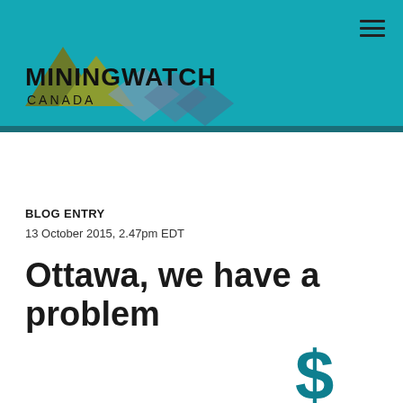[Figure (logo): MiningWatch Canada logo with mountain/diamond shapes on teal background]
BLOG ENTRY
13 October 2015, 2.47pm EDT
Ottawa, we have a problem
[Figure (illustration): Teal dollar sign icon, partially visible at bottom right]